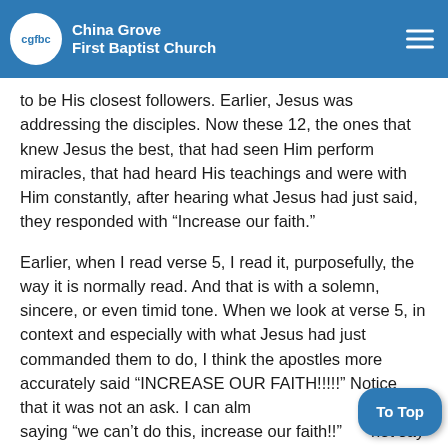China Grove First Baptist Church
to be His closest followers.  Earlier, Jesus was addressing the disciples.  Now these 12, the ones that knew Jesus the best, that had seen Him perform miracles, that had heard His teachings and were with Him constantly, after hearing what Jesus had just said, they responded with “Increase our faith.”
Earlier, when I read verse 5, I read it, purposefully, the way it is normally read.  And that is with a solemn, sincere, or even timid tone.  When we look at verse 5, in context and especially with what Jesus had just commanded them to do, I think the apostles more accurately said “INCREASE OUR FAITH!!!!!”  Notice that it was not an ask.  I can alm… them saying “we can’t do this, increase our faith!!”… not say “will you please give us more faith?”  I find it ve…